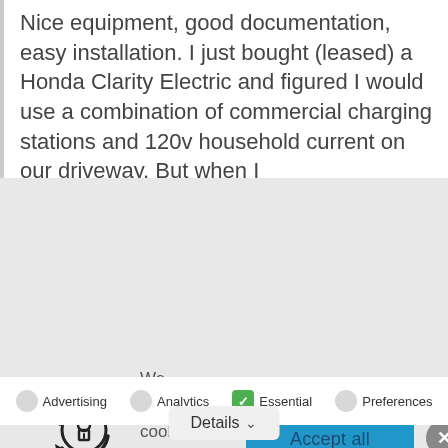Nice equipment, good documentation, easy installation. I just bought (leased) a Honda Clarity Electric and figured I would use a combination of commercial charging stations and 120v household current on our driveway. But when I
We use cook on this site
[Figure (illustration): Security/cookie icon: circular arrows around a lock/keyhole symbol]
Accept all
[Figure (other): Close/dismiss button: gray circle with white X]
Advertising
Analytics
Essential
Preferences
Details